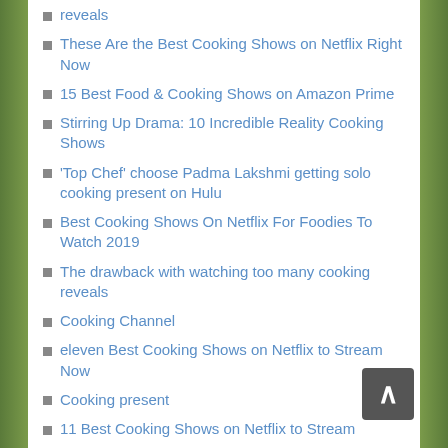reveals
These Are the Best Cooking Shows on Netflix Right Now
15 Best Food & Cooking Shows on Amazon Prime
Stirring Up Drama: 10 Incredible Reality Cooking Shows
'Top Chef' choose Padma Lakshmi getting solo cooking present on Hulu
Best Cooking Shows On Netflix For Foodies To Watch 2019
The drawback with watching too many cooking reveals
Cooking Channel
eleven Best Cooking Shows on Netflix to Stream Now
Cooking present
11 Best Cooking Shows on Netflix to Stream
Food I Am Cooking Courses And Marriage Ceremony